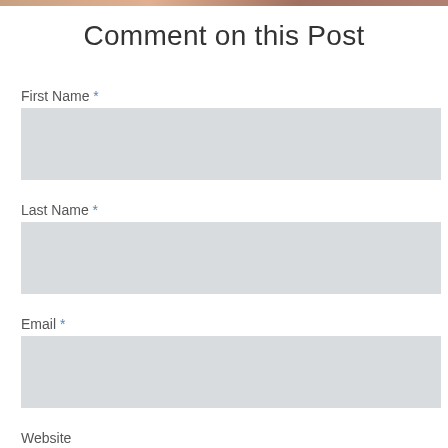[Figure (photo): Partial image strip at top of page]
Comment on this Post
First Name *
Last Name *
Email *
Website